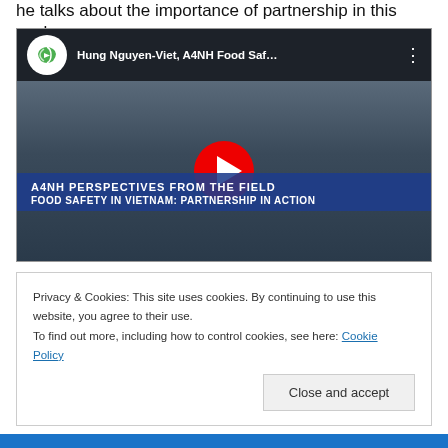he talks about the importance of partnership in this work.
[Figure (screenshot): YouTube video thumbnail for 'Hung Nguyen-Viet, A4NH Food Saf...' showing a man in a dark jacket with A4NH Perspectives from the Field overlay banner and text 'FOOD SAFETY IN VIETNAM: PARTNERSHIP IN ACTION'. A red YouTube play button is centered on the video.]
Privacy & Cookies: This site uses cookies. By continuing to use this website, you agree to their use.
To find out more, including how to control cookies, see here: Cookie Policy
Close and accept